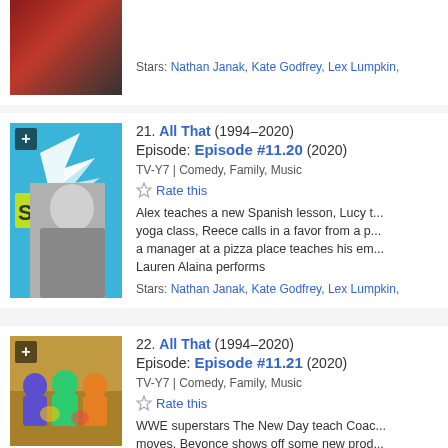[Figure (photo): Partial top entry thumbnail showing person with red/dark background, cropped at top]
Stars: Nathan Janak, Kate Godfrey, Lex Lumpkin,
[Figure (photo): Entry 21 thumbnail: stylized graphic with a boy in black and white, blue background, lightning bolt graphic, yellow 'S!' text]
21. All That (1994–2020)
Episode: Episode #11.20 (2020)
TV-Y7 | Comedy, Family, Music
Rate this
Alex teaches a new Spanish lesson, Lucy t... yoga class, Reece calls in a favor from a p... a manager at a pizza place teaches his em... Lauren Alaina performs
Stars: Nathan Janak, Kate Godfrey, Lex Lumpkin,
[Figure (photo): Entry 22 thumbnail: group photo of people in colorful wrestling/costume attire in a room]
22. All That (1994–2020)
Episode: Episode #11.21 (2020)
TV-Y7 | Comedy, Family, Music
Rate this
WWE superstars The New Day teach Coac... moves, Beyonce shows off some new prod...